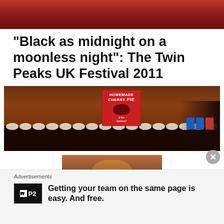[Figure (photo): Top partial photo showing a dark red/crimson background, appears to be part of a room or venue]
“Black as midnight on a moonless night”: The Twin Peaks UK Festival 2011
[Figure (photo): Photo of a table covered in a dark cloth with many white plates of homemade cherry pies and pastries. A sign in the center reads 'Homemade Cherry Pie'. On the right are blue and red decorated cupcakes.]
[Figure (photo): Partial photo of a man's face, looking downward, with an orange/warm lighting tone]
Advertisements
Getting your team on the same page is easy. And free.